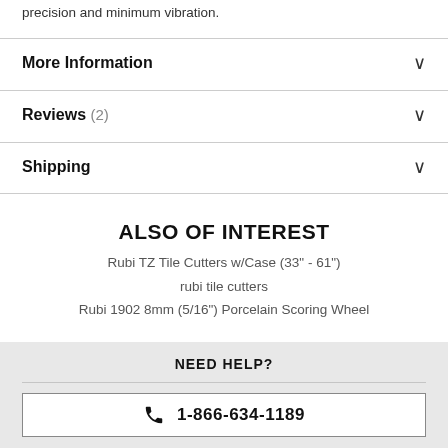precision and minimum vibration.
More Information
Reviews (2)
Shipping
ALSO OF INTEREST
Rubi TZ Tile Cutters w/Case (33" - 61")
rubi tile cutters
Rubi 1902 8mm (5/16") Porcelain Scoring Wheel
NEED HELP?
1-866-634-1189